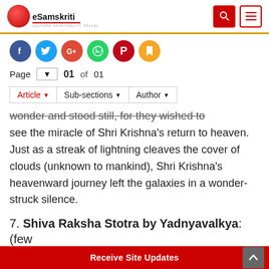eSamskriti — CULTURE SPIRITUALITY TRAVEL
[Figure (infographic): Social media share icons: Facebook (blue), Twitter (cyan), Google+ (red), WhatsApp (green), Pinterest (red), Bookmark (orange)]
Page 01 of 01
Article ▾  Sub-sections ▾  Author ▾
wonder and stood still, for they wished to see the miracle of Shri Krishna's return to heaven. Just as a streak of lightning cleaves the cover of clouds (unknown to mankind), Shri Krishna's heavenward journey left the galaxies in a wonder-struck silence.
7. Shiva Raksha Stotra by Yadnyavalkya: (few
Receive Site Updates